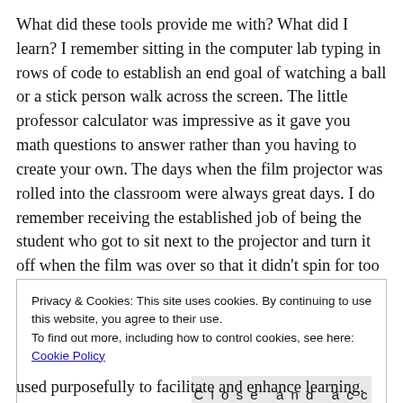What did these tools provide me with? What did I learn? I remember sitting in the computer lab typing in rows of code to establish an end goal of watching a ball or a stick person walk across the screen. The little professor calculator was impressive as it gave you math questions to answer rather than you having to create your own. The days when the film projector was rolled into the classroom were always great days. I do remember receiving the established job of being the student who got to sit next to the projector and turn it off when the film was over so that it didn't spin for too long. Did these tools impact my learning? In thinking about these
Privacy & Cookies: This site uses cookies. By continuing to use this website, you agree to their use.
To find out more, including how to control cookies, see here: Cookie Policy
[Close and accept]
used purposefully to facilitate and enhance learning.